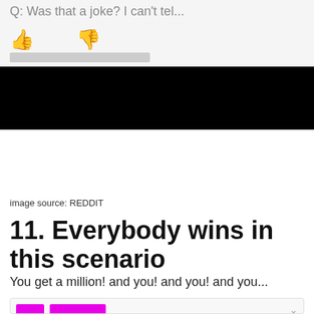[Figure (screenshot): Partial top section of a web UI showing thumbs up and thumbs down icons on a light gray background, with a blacked-out redacted image bar below]
image source: REDDIT
11. Everybody wins in this scenario
You get a million! and you! and you! and you...
[Figure (screenshot): Partial social media post card with magenta/pink avatar square, magenta name bar, and '2 hrs' timestamp]